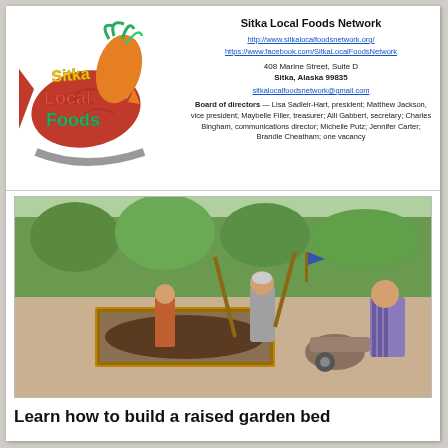[Figure (logo): Sitka Local Foods Network logo with fish, carrot, and text]
Sitka Local Foods Network
http://www.sitkalocalfoodsnetwork.org/
https://www.facebook.com/SitkaLocalFoodsNetwork
408 Marine Street, Suite D
Sitka, Alaska 99835
sitkalocalfoodsnetwork@gmail.com
Board of directors — Lisa Sadleir-Hart, president; Matthew Jackson, vice president; Maybelle Filler, treasurer; Alli Gabbert, secretary; Charles Bingham, communications director; Michelle Putz; Jennifer Carter; Brandie Cheatham; one vacancy
[Figure (photo): People building a raised garden bed outdoors, working with soil and wooden frames]
Learn how to build a raised garden bed